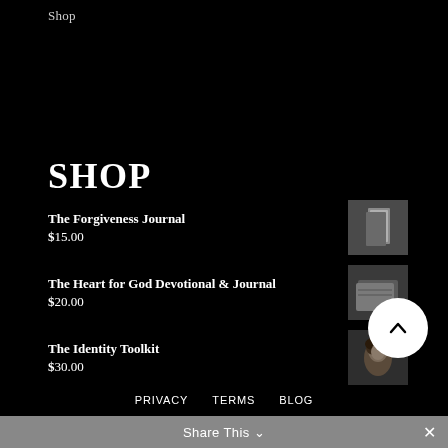Shop
SHOP
The Forgiveness Journal
$15.00
The Heart for God Devotional & Journal
$20.00
The Identity Toolkit
$30.00
PRIVACY   TERMS   BLOG
Share This ∨   ×